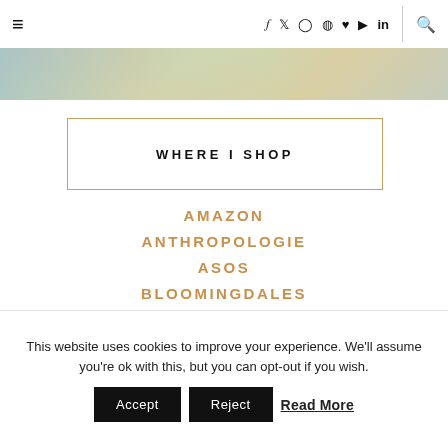≡  f  t  ⊙  ⊕  ♥  ▶  in  |  🔍
[Figure (photo): Partial colorful banner/hero image strip at the top of the page]
WHERE I SHOP
AMAZON
ANTHROPOLOGIE
ASOS
BLOOMINGDALES
GAP
H&M
J.CREW
LOFT
This website uses cookies to improve your experience. We'll assume you're ok with this, but you can opt-out if you wish.
Accept  Reject  Read More